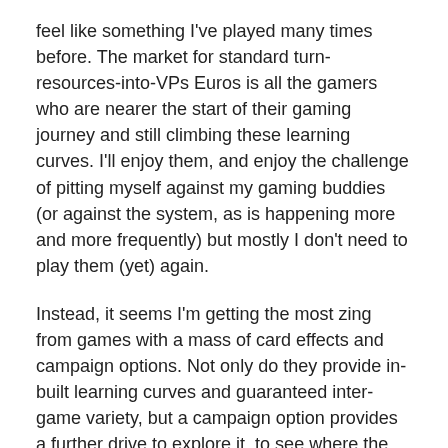feel like something I've played many times before. The market for standard turn-resources-into-VPs Euros is all the gamers who are nearer the start of their gaming journey and still climbing these learning curves. I'll enjoy them, and enjoy the challenge of pitting myself against my gaming buddies (or against the system, as is happening more and more frequently) but mostly I don't need to play them (yet) again.
Instead, it seems I'm getting the most zing from games with a mass of card effects and campaign options. Not only do they provide in-built learning curves and guaranteed inter-game variety, but a campaign option provides a further drive to explore it, to see where the game takes you next.
You can probably now guess where the following games